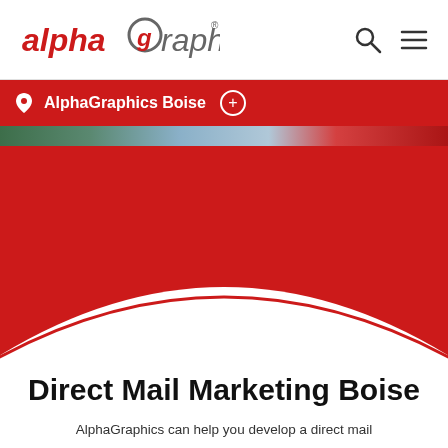[Figure (logo): AlphaGraphics logo with red italic text and circular g with gray 'raphics' text]
AlphaGraphics Boise ⊕
[Figure (photo): Partial banner image visible as a thin strip showing outdoor colors - green, blue tones with red]
[Figure (illustration): Red hero section with large white curved arch at bottom]
Direct Mail Marketing Boise
AlphaGraphics can help you develop a direct mail